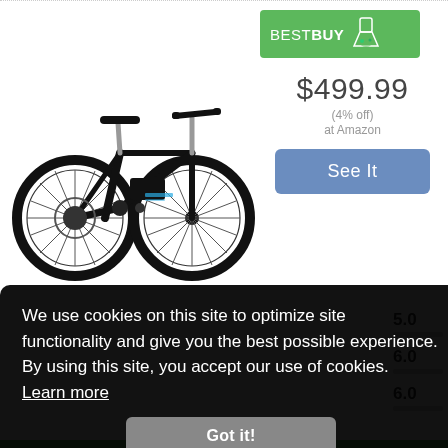[Figure (photo): Black folding electric bicycle (Ancheer brand) on white background, showing handlebars, seat, frame, motor, and spoke wheels]
[Figure (logo): Best Buy green badge logo with flask/beaker icon]
$499.99
(4% off)
at Amazon
See It
5.0
6.0
6.0
We use cookies on this site to optimize site functionality and give you the best possible experience. By using this site, you accept our use of cookies.  Learn more
Got it!
INTERFACE
5.0